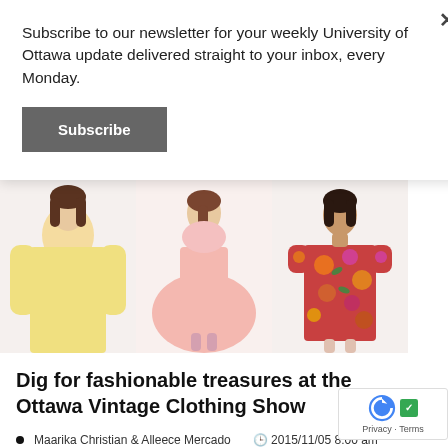Subscribe to our newsletter for your weekly University of Ottawa update delivered straight to your inbox, every Monday.
Subscribe
[Figure (photo): Three women modeling vintage clothing: a yellow long-sleeve dress, a pink full-skirt dress, and a floral print dress]
Dig for fashionable treasures at the Ottawa Vintage Clothing Show
Maarika Christian & Alleece Mercado    2015/11/05  8:00 am